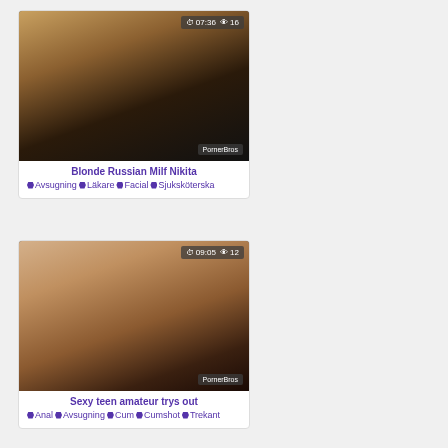[Figure (screenshot): Video thumbnail showing a blonde woman, duration 07:36, views 16, watermark PornerBros]
Blonde Russian Milf Nikita
♦ Avsugning ♦ Läkare ♦ Facial ♦ Sjuksköterska
[Figure (screenshot): Video thumbnail showing a slim woman on a machine, duration 09:05, views 12, watermark PornerBros]
Sexy teen amateur trys out
♦ Anal ♦ Avsugning ♦ Cum ♦ Cumshot ♦ Trekant